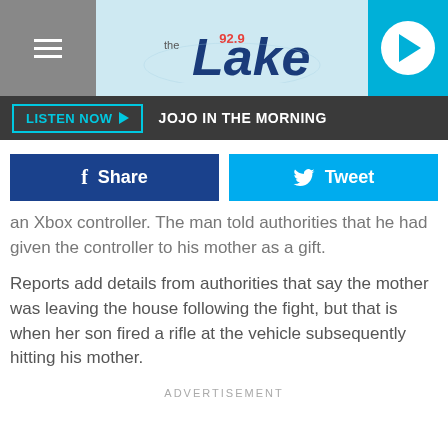[Figure (logo): 92.9 The Lake radio station logo and header with hamburger menu, logo, and play button]
LISTEN NOW ▶   JOJO IN THE MORNING
[Figure (infographic): Share and Tweet social buttons]
an Xbox controller. The man told authorities that he had given the controller to his mother as a gift.
Reports add details from authorities that say the mother was leaving the house following the fight, but that is when her son fired a rifle at the vehicle subsequently hitting his mother.
ADVERTISEMENT